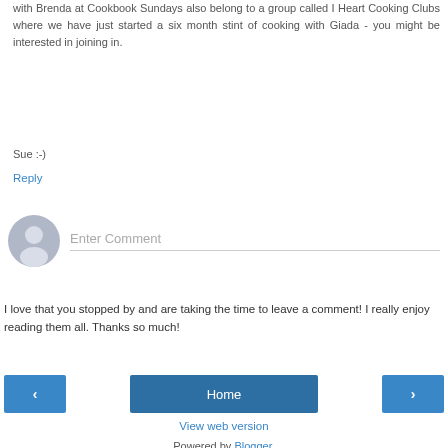with Brenda at Cookbook Sundays also belong to a group called I Heart Cooking Clubs where we have just started a six month stint of cooking with Giada - you might be interested in joining in.
Sue :-)
Reply
[Figure (other): User avatar icon (gray silhouette) next to an Enter Comment input field with a bottom border]
I love that you stopped by and are taking the time to leave a comment! I really enjoy reading them all. Thanks so much!
[Figure (other): Navigation bar with left arrow button, Home button, and right arrow button]
View web version
Powered by Blogger.